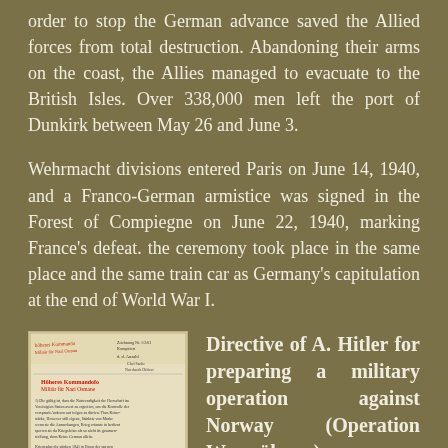order to stop the German advance saved the Allied forces from total destruction. Abandoning their arms on the coast, the Allies managed to evacuate to the British Isles. Over 338,000 men left the port of Dunkirk between May 26 and June 3.
Wehrmacht divisions entered Paris on June 14, 1940, and a Franco-German armistice was signed in the Forest of Compiegne on June 22, 1940, marking France's defeat. the ceremony took place in the same place and the same train car as Germany's capitulation at the end of World War I.
[Figure (photo): A scanned historical document, appearing to be a military directive with handwritten annotations, stamps, and typed text in German. The document has a yellowed/aged appearance with red handwritten text visible near the top.]
Directive of A. Hitler for preparing a military operation against Norway (Operation Weserübung)
1 March 1940
Bundesarchiv